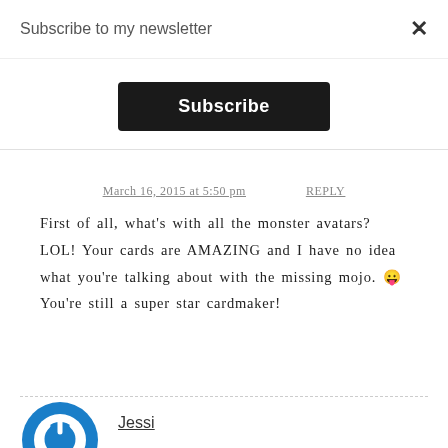Subscribe to my newsletter
× (close button)
Subscribe (button)
March 16, 2015 at 5:50 pm
REPLY
First of all, what's with all the monster avatars? LOL! Your cards are AMAZING and I have no idea what you're talking about with the missing mojo. 😛 You're still a super star cardmaker!
[Figure (logo): Blue circular power/on button logo icon]
Jessi